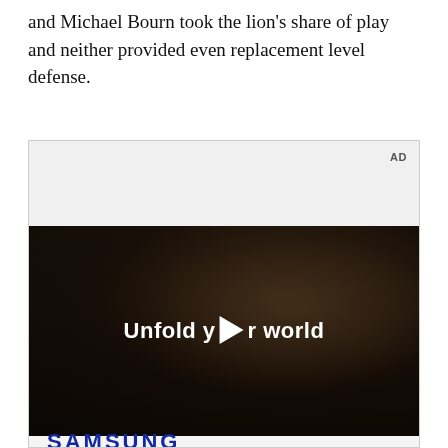and Michael Bourn took the lion's share of play and neither provided even replacement level defense.
[Figure (other): Samsung advertisement video thumbnail showing a person holding a foldable phone with text 'Unfold your world' overlaid on a dark car interior scene, with Samsung logo below.]